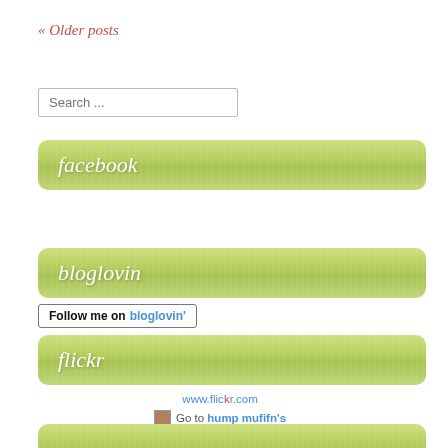« Older posts
[Figure (screenshot): Search input box with placeholder text 'Search ...']
[Figure (illustration): Green rounded banner with white italic text 'facebook']
[Figure (illustration): Green rounded banner with white italic text 'bloglovin']
Follow me on bloglovin'
[Figure (illustration): Green rounded banner with white italic text 'flickr']
www.flickr.com Go to hump mufifn's photostream
[Figure (illustration): Partial green rounded banner at bottom of page]